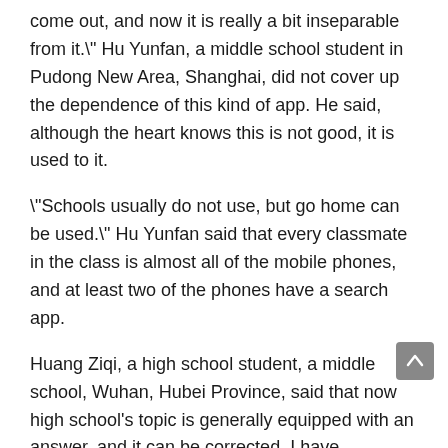come out, and now it is really a bit inseparable from it." Hu Yunfan, a middle school student in Pudong New Area, Shanghai, did not cover up the dependence of this kind of app. He said, although the heart knows this is not good, it is used to it.
"Schools usually do not use, but go home can be used." Hu Yunfan said that every classmate in the class is almost all of the mobile phones, and at least two of the phones have a search app.
Huang Ziqi, a high school student, a middle school, Wuhan, Hubei Province, said that now high school's topic is generally equipped with an answer, and it can be corrected. I have encountered a problem without answers, I usually think about it, I can't think of the search process with the search app. "But in the hands of the self-made force, the search app is easy to become their copying tool. When there is no app, they have been student, and now there is app to copy it more convenient."
[ 123] For the online education platform, since the photo search APP has a high user viscosity, it is called "draining